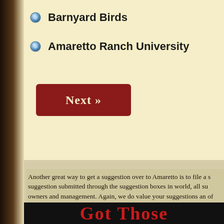Barnyard Birds
Amaretto Ranch University
[Figure (screenshot): Red 'Next »' button]
Another great way to get a suggestion over to Amaretto is to file a suggestion submitted through the suggestion boxes in world, all su... owners and management. Again, we do value your suggestions an... of you suggestions are seen, they may not all be used.
To submit a suggestion using the support system:
Log in to the Amaretto support website http://support.amarettobree...
Once logged in you will select Submit A Ticket
Then you will select the Suggestions/Questions Department and se...
You will then put your suggestion in the Message details area of the... Button at the bottom when you are done
[Figure (screenshot): Dark banner with red text reading 'Got Those']